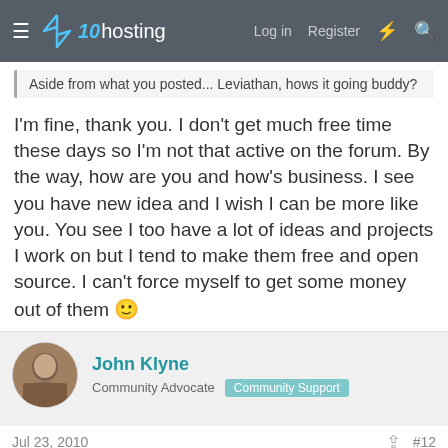x10hosting — Log in  Register
Aside from what you posted... Leviathan, hows it going buddy?
I'm fine, thank you. I don't get much free time these days so I'm not that active on the forum. By the way, how are you and how's business. I see you have new idea and I wish I can be more like you. You see I too have a lot of ideas and projects I work on but I tend to make them free and open source. I can't force myself to get some money out of them 🙂
John Klyne
Community Advocate  Community Support
Jul 23, 2010  #12
cybrax said:
Layout and typography issues aside for a moment..